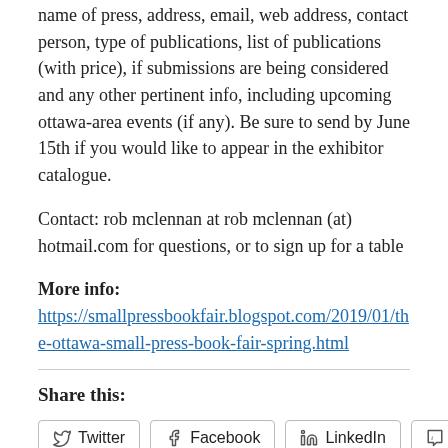name of press, address, email, web address, contact person, type of publications, list of publications (with price), if submissions are being considered and any other pertinent info, including upcoming ottawa-area events (if any). Be sure to send by June 15th if you would like to appear in the exhibitor catalogue.
Contact: rob mclennan at rob mclennan (at) hotmail.com for questions, or to sign up for a table
More info: https://smallpressbookfair.blogspot.com/2019/01/the-ottawa-small-press-book-fair-spring.html
Share this:
Twitter | Facebook | LinkedIn | Tumblr